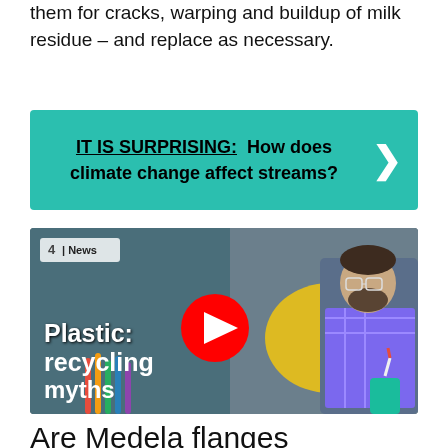them for cracks, warping and buildup of milk residue – and replace as necessary.
IT IS SURPRISING: How does climate change affect streams?
[Figure (screenshot): Channel 4 News YouTube video thumbnail showing a man pointing, with text 'Plastic: recycling myths exposed' and a YouTube play button overlay.]
Are Medela flanges recyclable?